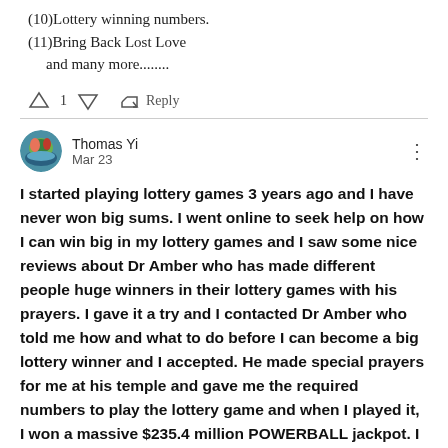(10)Lottery winning numbers.
(11)Bring Back Lost Love
and many more........
↑ 1 ↓  Reply
Thomas Yi
Mar 23
I started playing lottery games 3 years ago and I have never won big sums. I went online to seek help on how I can win big in my lottery games and I saw some nice reviews about Dr Amber who has made different people huge winners in their lottery games with his prayers. I gave it a try and I contacted Dr Amber who told me how and what to do before I can become a big lottery winner and I accepted. He made special prayers for me at his temple and gave me the required numbers to play the lottery game and when I played it, I won a massive $235.4 million POWERBALL jackpot. I was so happy and I